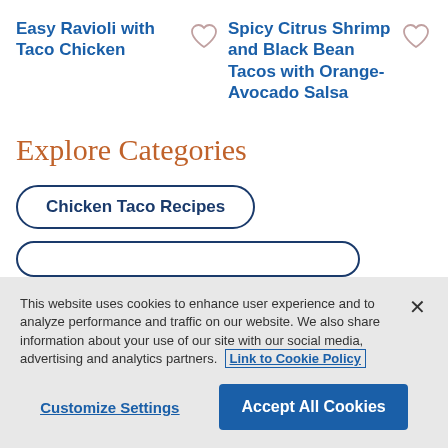Easy Ravioli with Taco Chicken
Spicy Citrus Shrimp and Black Bean Tacos with Orange-Avocado Salsa
Explore Categories
Chicken Taco Recipes
This website uses cookies to enhance user experience and to analyze performance and traffic on our website. We also share information about your use of our site with our social media, advertising and analytics partners. Link to Cookie Policy
Customize Settings
Accept All Cookies